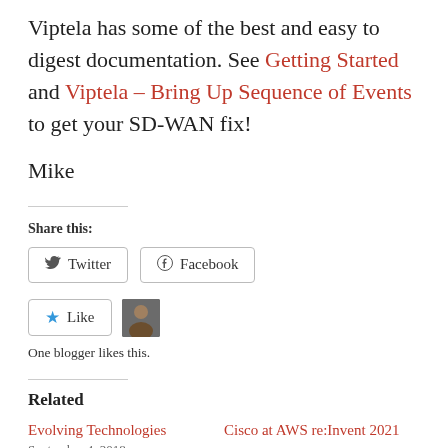Viptela has some of the best and easy to digest documentation. See Getting Started and Viptela – Bring Up Sequence of Events to get your SD-WAN fix!
Mike
Share this:
Twitter  Facebook
Like
One blogger likes this.
Related
Evolving Technologies
Cisco at AWS re:Invent 2021